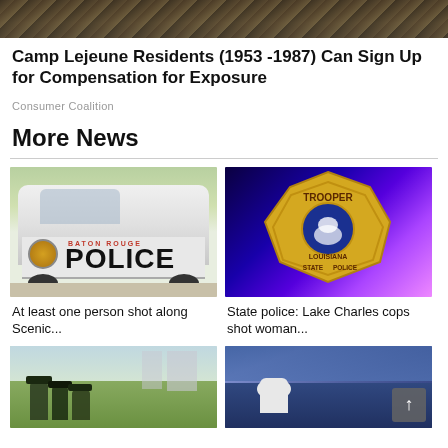[Figure (photo): Dark textured background image at top of page, appears to be animal fur or feathers]
Camp Lejeune Residents (1953 -1987) Can Sign Up for Compensation for Exposure
Consumer Coalition
More News
[Figure (photo): Baton Rouge Police car with POLICE text visible on the side door]
At least one person shot along Scenic...
[Figure (photo): Louisiana State Police Trooper badge on blue/purple background with flashing lights]
State police: Lake Charles cops shot woman...
[Figure (photo): People sitting outdoors on grass, possibly a military or outdoor event]
[Figure (photo): Football game scene with player in white helmet, stadium seating visible]